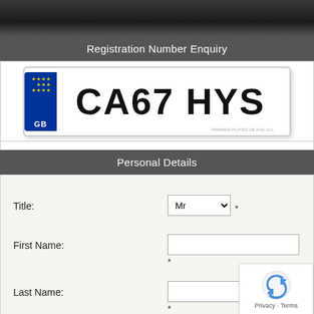[Figure (screenshot): Dark gradient top bar, part of a web page header]
Registration Number Enquiry
[Figure (photo): UK vehicle number plate showing CA67 HYS with EU stars and GB identifier on blue strip]
Personal Details
Title:
First Name:
Last Name: